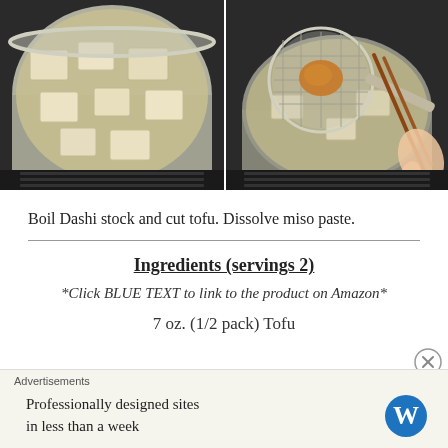[Figure (photo): Two side-by-side cooking photos: left shows tofu cubes boiling in dashi broth in a pot on a stove, right shows a strainer with miso paste being dissolved into the pot using chopsticks.]
Boil Dashi stock and cut tofu. Dissolve miso paste.
Ingredients (servings 2)
*Click BLUE TEXT to link to the product on Amazon*
7 oz. (1/2 pack) Tofu
Advertisements
Professionally designed sites in less than a week